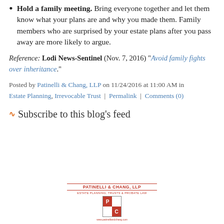Hold a family meeting. Bring everyone together and let them know what your plans are and why you made them. Family members who are surprised by your estate plans after you pass away are more likely to argue.
Reference: Lodi News-Sentinel (Nov. 7, 2016) "Avoid family fights over inheritance."
Posted by Patinelli & Chang, LLP on 11/24/2016 at 11:00 AM in Estate Planning, Irrevocable Trust | Permalink | Comments (0)
Subscribe to this blog's feed
[Figure (logo): Patinelli & Chang, LLP logo with red P and C letterforms in a divided square, firm name and tagline above, website URL below]